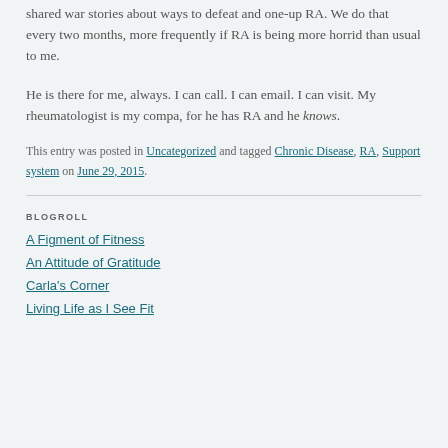shared war stories about ways to defeat and one-up RA. We do that every two months, more frequently if RA is being more horrid than usual to me.
He is there for me, always. I can call. I can email. I can visit. My rheumatologist is my compa, for he has RA and he knows.
This entry was posted in Uncategorized and tagged Chronic Disease, RA, Support system on June 29, 2015.
BLOGROLL
A Figment of Fitness
An Attitude of Gratitude
Carla's Corner
Living Life as I See Fit